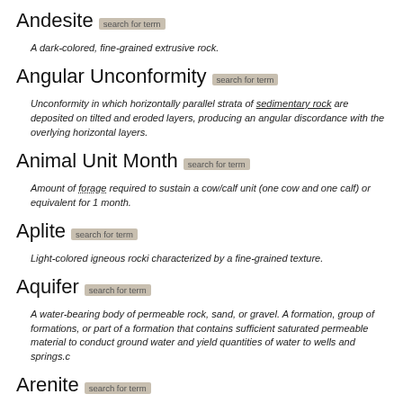Andesite search for term
A dark-colored, fine-grained extrusive rock.
Angular Unconformity search for term
Unconformity in which horizontally parallel strata of sedimentary rock are deposited on tilted and eroded layers, producing an angular discordance with the overlying horizontal layers.
Animal Unit Month search for term
Amount of forage required to sustain a cow/calf unit (one cow and one calf) or equivalent for 1 month.
Aplite search for term
Light-colored igneous rocki characterized by a fine-grained texture.
Aquifer search for term
A water-bearing body of permeable rock, sand, or gravel. A formation, group of formations, or part of a formation that contains sufficient saturated permeable material to conduct ground water and yield quantities of water to wells and springs.c
Arenite search for term